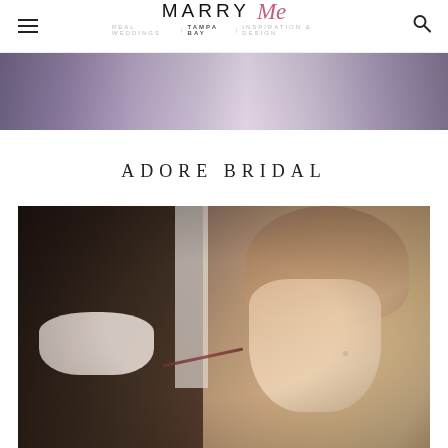MARRY Me | TAMPA BAY |
[Figure (photo): Top portion of a wedding party photo showing purple/lavender bridesmaid dresses hanging or being worn]
ADORE BRIDAL
[Figure (photo): A makeup artist wearing a white face mask applying lipstick to a bride with blonde highlighted hair and an updo hairstyle, using a lip brush]